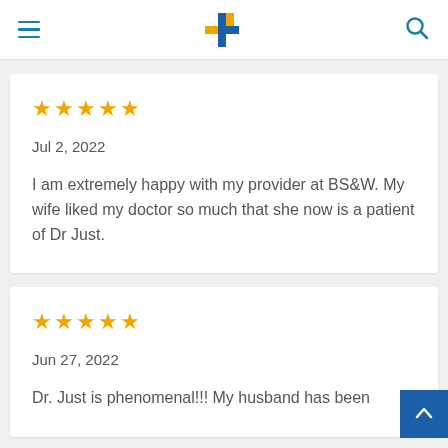BS&W health navigation header
★★★★★
Jul 2, 2022
I am extremely happy with my provider at BS&W. My wife liked my doctor so much that she now is a patient of Dr Just.
★★★★★
Jun 27, 2022
Dr. Just is phenomenal!!! My husband has been